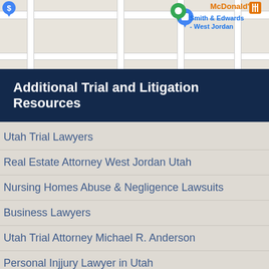[Figure (map): Google Maps screenshot showing a street map with a blue pin labeled 'Smith & Edwards - West Jordan', a green location pin, a dollar sign pin, and a McDonald's label in orange.]
Additional Trial and Litigation Resources
Utah Trial Lawyers
Real Estate Attorney West Jordan Utah
Nursing Homes Abuse & Negligence Lawsuits
Business Lawyers
Utah Trial Attorney Michael R. Anderson
Personal Injjury Lawyer in Utah
Child Custody Lawyer in Utah
Estate Litigators in Utah